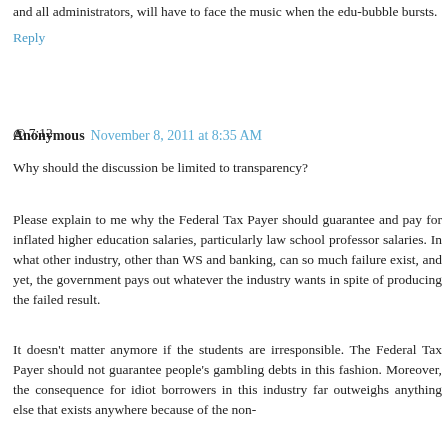and all administrators, will have to face the music when the edu-bubble bursts.
Reply
Anonymous  November 8, 2011 at 8:35 AM
@ 7:12
Why should the discussion be limited to transparency?
Please explain to me why the Federal Tax Payer should guarantee and pay for inflated higher education salaries, particularly law school professor salaries. In what other industry, other than WS and banking, can so much failure exist, and yet, the government pays out whatever the industry wants in spite of producing the failed result.
It doesn't matter anymore if the students are irresponsible. The Federal Tax Payer should not guarantee people's gambling debts in this fashion. Moreover, the consequence for idiot borrowers in this industry far outweighs anything else that exists anywhere because of the non-